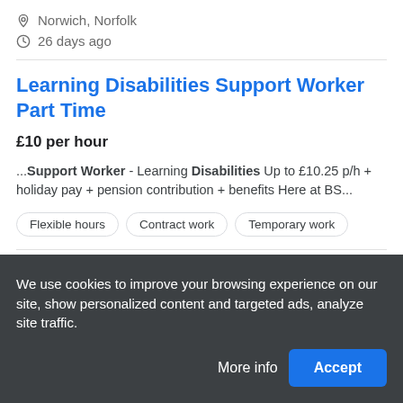Norwich, Norfolk
26 days ago
Learning Disabilities Support Worker Part Time
£10 per hour
...Support Worker - Learning Disabilities Up to £10.25 p/h + holiday pay + pension contribution + benefits Here at BS...
Flexible hours
Contract work
Temporary work
Brook Street
We use cookies to improve your browsing experience on our site, show personalized content and targeted ads, analyze site traffic.
More info
Accept